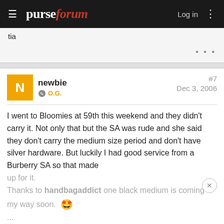purseforum — Log in
tia
• • •
newbie O.G. #7 Dec 3, 2006
I went to Bloomies at 59th this weekend and they didn't carry it. Not only that but the SA was rude and she said they don't carry the medium size period and don't have silver hardware. But luckily I had good service from a Burberry SA so that made up for it.
Thanks to handbagaddict one black medium is coming my way soon.
...